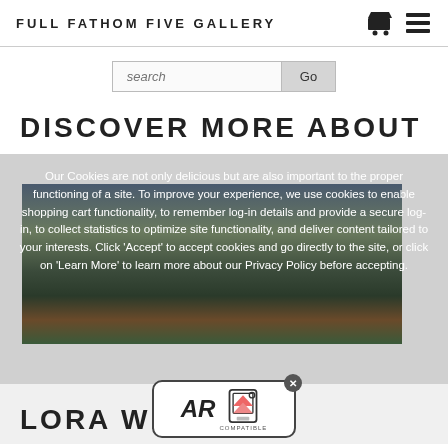FULL FATHOM FIVE GALLERY
search
DISCOVER MORE ABOUT
Our Cookies are not only delicious but are also important to the proper functioning of a site. To improve your experience, we use cookies to enable shopping cart functionality, to remember log-in details and provide a secure log-in, to collect statistics to optimize site functionality, and deliver content tailored to your interests. Click 'Accept' to accept cookies and go directly to the site, or click on 'Learn More' to learn more about our Privacy Policy before accepting.
[Figure (photo): Painting with dark landscape, clouds, green and brown tones]
LORA WHELAN